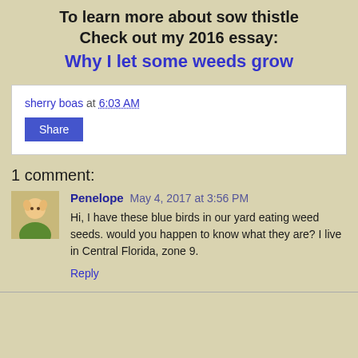To learn more about sow thistle Check out my 2016 essay:
Why I let some weeds grow
sherry boas at 6:03 AM
Share
1 comment:
Penelope May 4, 2017 at 3:56 PM
Hi, I have these blue birds in our yard eating weed seeds. would you happen to know what they are? I live in Central Florida, zone 9.
Reply